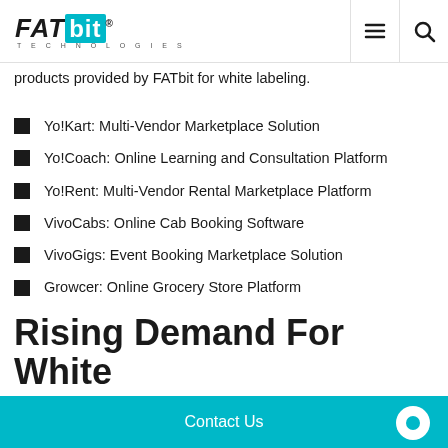FATbit TECHNOLOGIES
products provided by FATbit for white labeling.
Yo!Kart: Multi-Vendor Marketplace Solution
Yo!Coach: Online Learning and Consultation Platform
Yo!Rent: Multi-Vendor Rental Marketplace Platform
VivoCabs: Online Cab Booking Software
VivoGigs: Event Booking Marketplace Solution
Growcer: Online Grocery Store Platform
Rising Demand For White
Contact Us